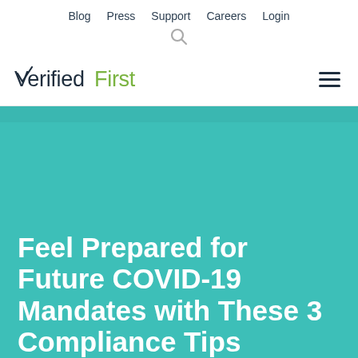Blog  Press  Support  Careers  Login
[Figure (logo): Verified First logo with checkmark and green 'First' text]
Feel Prepared for Future COVID-19 Mandates with These 3 Compliance Tips